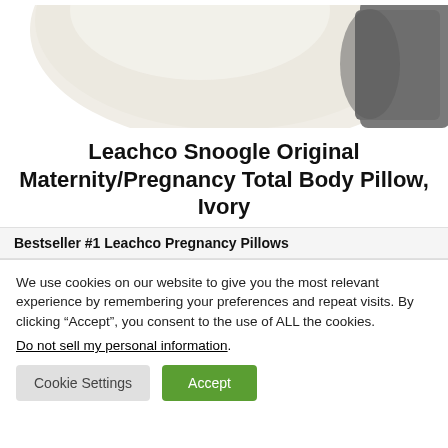[Figure (photo): Partial view of a body pillow — off-white/ivory large pillow shape with a gray/dark fabric element visible at the right side, cropped at the top of the page.]
Leachco Snoogle Original Maternity/Pregnancy Total Body Pillow, Ivory
Bestseller #1 Leachco Pregnancy Pillows
We use cookies on our website to give you the most relevant experience by remembering your preferences and repeat visits. By clicking “Accept”, you consent to the use of ALL the cookies.
Do not sell my personal information.